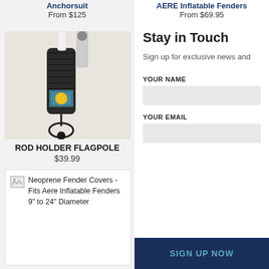Anchorsuit
From $125
AERE Inflatable Fenders
From $69.95
[Figure (photo): Photo of a rod holder flagpole product with black foam grip and bungee cord loop on white background]
ROD HOLDER FLAGPOLE
$39.99
[Figure (photo): Small broken image icon for Neoprene Fender Covers product]
Neoprene Fender Covers - Fits Aere Inflatable Fenders 9" to 24" Diameter
Stay in Touch
Sign up for exclusive news and
YOUR NAME
YOUR EMAIL
SIGN UP NOW